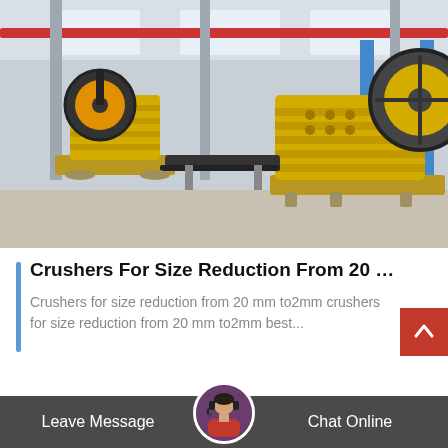[Figure (photo): Industrial factory floor showing large yellow jaw crushers and machinery in a warehouse with overhead cranes and steel beams.]
Crushers For Size Reduction From 20 ...
Crushers for size reduction from 20 mm to2mm crushers for size reduction from 20 mm to2mm best...
Leave Message
Chat Online